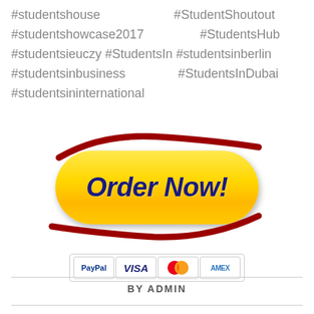#studentshouse #StudentShoutout #studentshowcase2017 #StudentsHub #studentsieuczy #StudentsIn #studentsinberlin #studentsinbusiness #StudentsInDubai #studentsininternational
[Figure (illustration): A yellow pill-shaped 'Order Now!' button with dark blue italic bold text, surrounded by red swoosh/orbit lines. Below the button are payment method icons: PayPal, VISA, MasterCard, AMEX.]
BY ADMIN